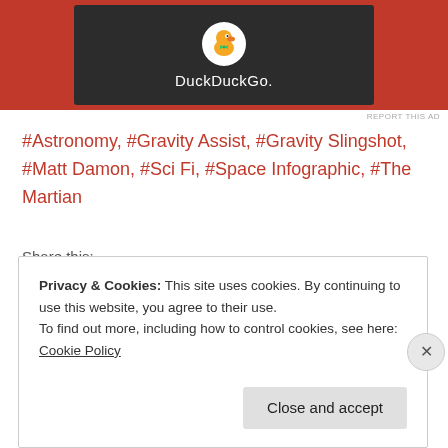[Figure (logo): DuckDuckGo advertisement banner with logo on dark background with red/orange sides]
REPORT THIS AD
#Astronomy, #Gravity Assist, #Gravity Slingshot, #Matt Damon, #Sci Fi, #Space Infographic, #The Martian
Share this:
Tweet
Privacy & Cookies: This site uses cookies. By continuing to use this website, you agree to their use.
To find out more, including how to control cookies, see here: Cookie Policy
Close and accept